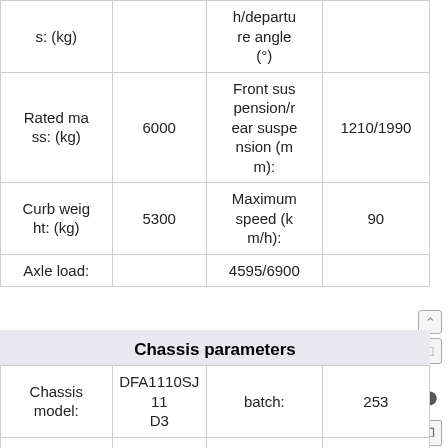|  |  |  |  |
| --- | --- | --- | --- |
| s: (kg) |  | h/departure angle (°) |  |
| Rated mass: (kg) | 6000 | Front suspension/rear suspension (mm): | 1210/1990 |
| Curb weight: (kg) | 5300 | Maximum speed (km/h): | 90 |
| Axle load: |  | 4595/6900 |  |
Chassis parameters
|  |  |  |  |
| --- | --- | --- | --- |
| Chassis model: | DFA1110SJ11D3 | batch: | 253 |
| Number of axes: | 2 | Fuel type: | Diesel oil |
| Wheelbase (mm): | 3800 | Front track (mm): | 1770,1831 |
| Number of passeng |  | Rear track (mm): | 1640,1586 |